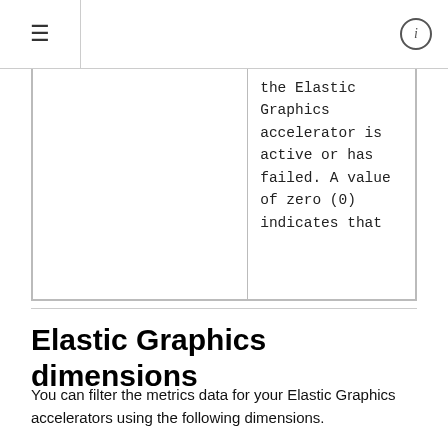≡  (i)
|  |  |
| --- | --- |
|  | the Elastic Graphics accelerator is active or has failed. A value of zero (0) indicates that |
Elastic Graphics dimensions
You can filter the metrics data for your Elastic Graphics accelerators using the following dimensions.
| Dimension | Description |
| --- | --- |
| EGPUId | Filters the data by the Elastic |